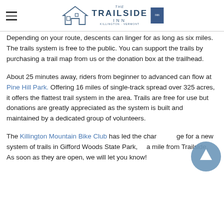THE TRAILSIDE INN
Depending on your route, descents can linger for as long as six miles.  The trails system is free to the public.  You can support the trails by purchasing a trail map from us or the donation box at the trailhead.
About 25 minutes away, riders from beginner to advanced can flow at Pine Hill Park.  Offering 16 miles of single-track spread over 325 acres, it offers the flattest trail system in the area.  Trails are free for use but donations are greatly appreciated as the system is built and maintained by a dedicated group of volunteers.
The Killington Mountain Bike Club has led the charge for a new system of trails in Gifford Woods State Park, a mile from Trailside.  As soon as they are open, we will let you know!